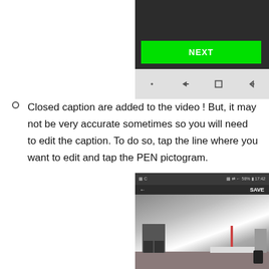[Figure (screenshot): Mobile app screenshot showing a dark interface with a green NEXT button and a navigation bar with icons at the bottom]
Closed caption are added to the video ! But, it may not be very accurate sometimes so you will need to edit the caption. To do so, tap the line where you want to edit and tap the PEN pictogram.
[Figure (screenshot): Mobile app screenshot showing a video editing interface with SAVE button and a video frame showing a room with furniture, a desk, and sewing machines]